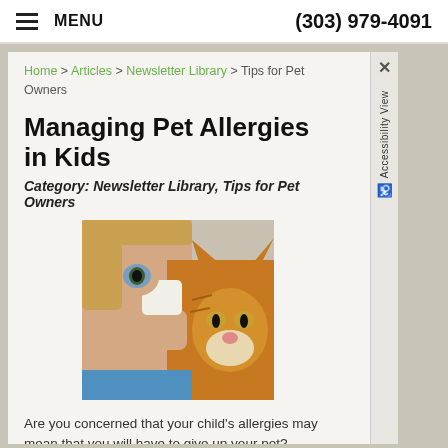MENU   (303) 979-4091
Home > Articles > Newsletter Library > Tips for Pet Owners
Managing Pet Allergies in Kids
Category: Newsletter Library, Tips for Pet Owners
[Figure (photo): A child holding a cat up to their face, with the cat looking at the camera. The child appears to be wiping their eye, suggesting allergy symptoms.]
Are you concerned that your child's allergies may mean that you will have to give up your pet? Although rehoming a pet may be necessary if allergies are severe, most children can live with pets if you are willing to make a few changes. The Problem About three in 10 people who have allergies are allergic...